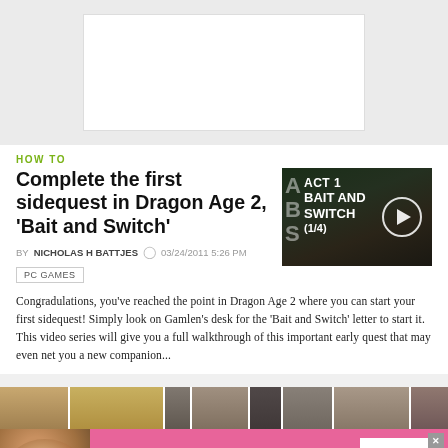[Figure (other): Top banner advertisement placeholder - white rectangle on grey background]
HOW TO
Complete the first sidequest in Dragon Age 2, 'Bait and Switch'
[Figure (screenshot): Video thumbnail showing game scene with text ACT 1 BAIT AND SWITCH (1/4) and a play button]
BY NICHOLAS H BATTJES  03/24/2011 5:26 PM
PC GAMES
Congradulations, you've reached the point in Dragon Age 2 where you can start your first sidequest! Simply look on Gamlen's desk for the 'Bait and Switch' letter to start it. This video series will give you a full walkthrough of this important early quest that may even net you a new companion...
[Figure (photo): Bottom strip showing multiple background images]
[Figure (other): Victoria's Secret advertisement banner - pink background with model, logo, SHOP THE COLLECTION text, and SHOP NOW button]